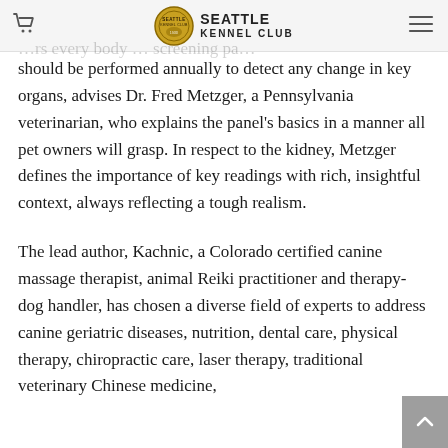Seattle Kennel Club
should be performed annually to detect any change in key organs, advises Dr. Fred Metzger, a Pennsylvania veterinarian, who explains the panel's basics in a manner all pet owners will grasp. In respect to the kidney, Metzger defines the importance of key readings with rich, insightful context, always reflecting a tough realism.
The lead author, Kachnic, a Colorado certified canine massage therapist, animal Reiki practitioner and therapy-dog handler, has chosen a diverse field of experts to address canine geriatric diseases, nutrition, dental care, physical therapy, chiropractic care, laser therapy, traditional veterinary Chinese medicine,